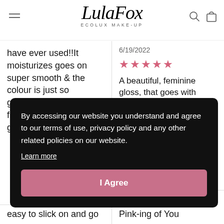[Figure (logo): LulaFox ECOLUX MAKE-UP logo with hamburger menu icon and search/cart icons]
have ever used!!It moisturizes goes on super smooth & the colour is just so gorgeous it's the finishing touch that gives
6/19/2022
★★★★★
A beautiful, feminine gloss, that goes with everything.
By accessing our website you understand and agree to our terms of use, privacy policy and any other related policies on our website.
Learn more
I Agree
s and
easy to slick on and go
Pink-ing of You